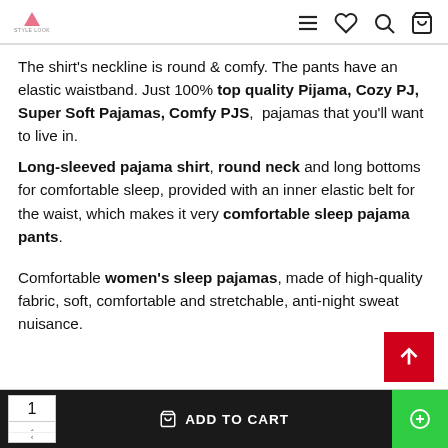Style Look — navigation header with logo and icons
The shirt's neckline is round & comfy. The pants have an elastic waistband. Just 100% top quality Pijama, Cozy PJ, Super Soft Pajamas, Comfy PJS, pajamas that you'll want to live in.
Long-sleeved pajama shirt, round neck and long bottoms for comfortable sleep, provided with an inner elastic belt for the waist, which makes it very comfortable sleep pajama pants.
Comfortable women's sleep pajamas, made of high-quality fabric, soft, comfortable and stretchable, anti-night sweat nuisance.
1  ADD TO CART